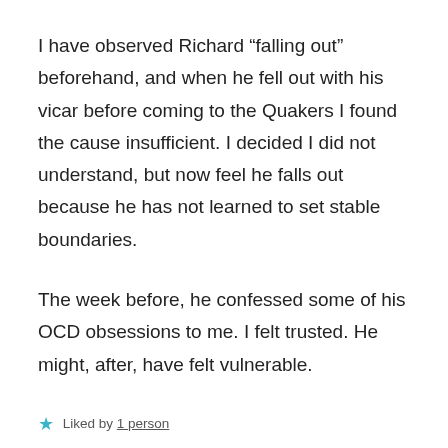I have observed Richard “falling out” beforehand, and when he fell out with his vicar before coming to the Quakers I found the cause insufficient. I decided I did not understand, but now feel he falls out because he has not learned to set stable boundaries.
The week before, he confessed some of his OCD obsessions to me. I felt trusted. He might, after, have felt vulnerable.
★ Liked by 1 person